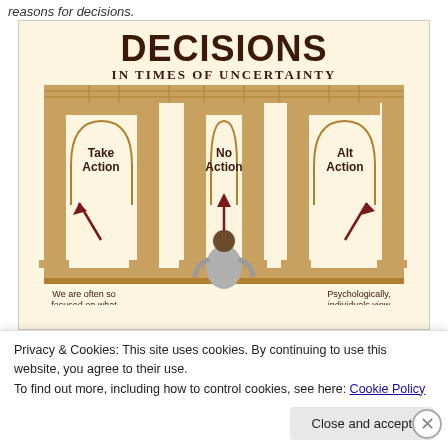reasons for decisions.
[Figure (infographic): An infographic titled 'DECISIONS IN TIMES OF UNCERTAINTY' showing three archways labeled 'Take Action', 'No Action', and 'Alt Action' with arrows pointing toward them, and a figure of a person standing in front, with partial caption text at the bottom: 'We are often so focused on what' and 'Psychologically, individuals view']
Privacy & Cookies: This site uses cookies. By continuing to use this website, you agree to their use.
To find out more, including how to control cookies, see here: Cookie Policy
Close and accept